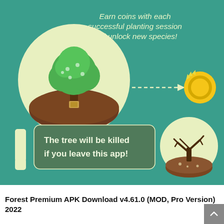[Figure (infographic): App infographic on teal/green background showing: top section with a green tree in a cream circle, dashed arrow pointing right to a yellow coin with motion lines, text 'Earn coins with each successful planting session and unlock new species!'; bottom section with exclamation mark icon, rounded rectangle with text 'The tree will be killed if you leave this app!', and a cream circle with dead tree illustration.]
Forest Premium APK Download v4.61.0 (MOD, Pro Version) 2022